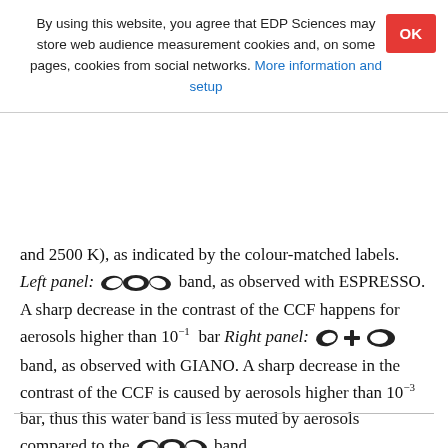By using this website, you agree that EDP Sciences may store web audience measurement cookies and, on some pages, cookies from social networks. More information and setup
and 2500 K), as indicated by the colour-matched labels. Left panel: [band symbol] band, as observed with ESPRESSO. A sharp decrease in the contrast of the CCF happens for aerosols higher than 10^{-1} bar Right panel: [band symbol] band, as observed with GIANO. A sharp decrease in the contrast of the CCF is caused by aerosols higher than 10^{-3} bar, thus this water band is less muted by aerosols compared to the [band symbol] band.